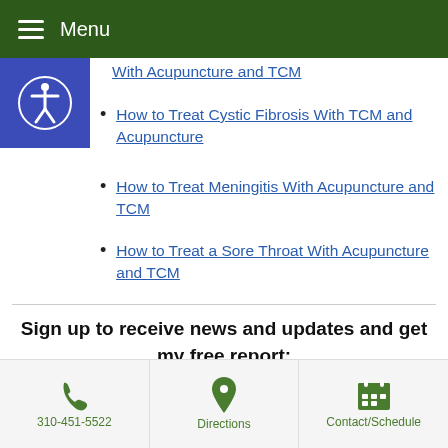Menu
With Acupuncture and TCM
How to Treat Cystic Fibrosis With TCM and Acupuncture
How to Treat Meningitis With Acupuncture and TCM
How to Treat a Sore Throat With Acupuncture and TCM
Sign up to receive news and updates and get my free report: “The Top 10 Reasons to Try Acupuncture”
310-451-5522 | Directions | Contact/Schedule